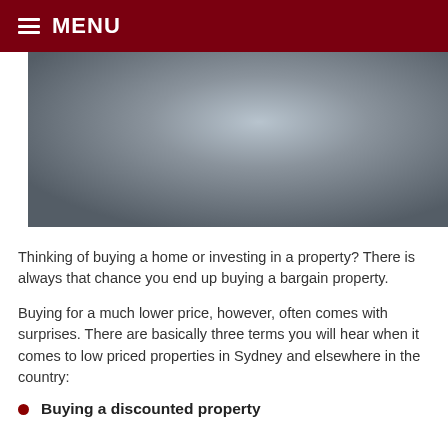MENU
[Figure (photo): A grey gradient hero image placeholder, rectangular, with a subtle radial gradient from lighter center to darker edges.]
Thinking of buying a home or investing in a property? There is always that chance you end up buying a bargain property.
Buying for a much lower price, however, often comes with surprises. There are basically three terms you will hear when it comes to low priced properties in Sydney and elsewhere in the country:
Buying a discounted property